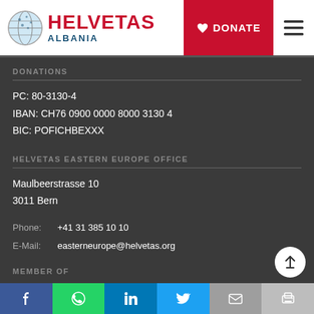HELVETAS ALBANIA — DONATE
DONATIONS
PC: 80-3130-4
IBAN: CH76 0900 0000 8000 3130 4
BIC: POFICHBEXXX
HELVETAS EASTERN EUROPE OFFICE
Maulbeerstrasse 10
3011 Bern
Phone: +41 31 385 10 10
E-Mail: easterneurope@helvetas.org
MEMBER OF
Facebook | WhatsApp | LinkedIn | Twitter | Email | Print